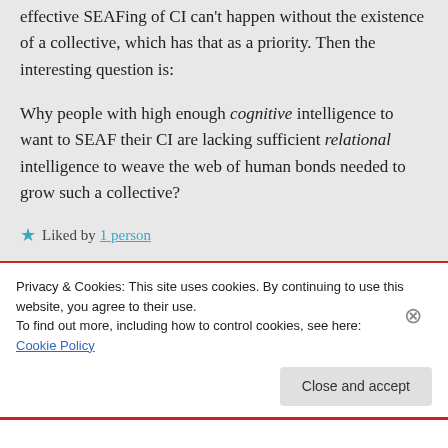effective SEAFing of CI can't happen without the existence of a collective, which has that as a priority. Then the interesting question is:
Why people with high enough cognitive intelligence to want to SEAF their CI are lacking sufficient relational intelligence to weave the web of human bonds needed to grow such a collective?
★ Liked by 1 person
Privacy & Cookies: This site uses cookies. By continuing to use this website, you agree to their use. To find out more, including how to control cookies, see here: Cookie Policy